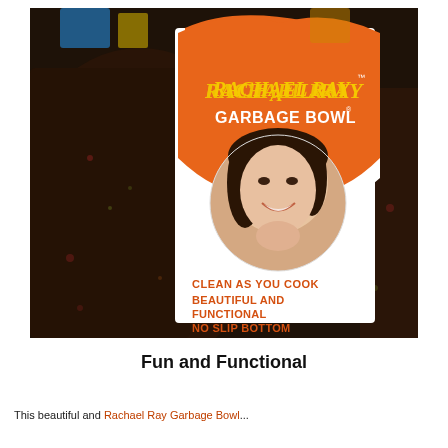[Figure (photo): Photo of a Rachael Ray Garbage Bowl product box sitting on a dark marble/granite surface. The box is white with an orange half-circle design at the top bearing the Rachael Ray logo in yellow script and 'GARBAGE BOWL' in white text. A circular photo of Rachael Ray smiling is in the center. Orange text below reads: 'CLEAN AS YOU COOK', 'BEAUTIFUL AND FUNCTIONAL', 'NO SLIP BOTTOM'.]
Fun and Functional
This beautiful and Rachael Ray Garbage Bowl...